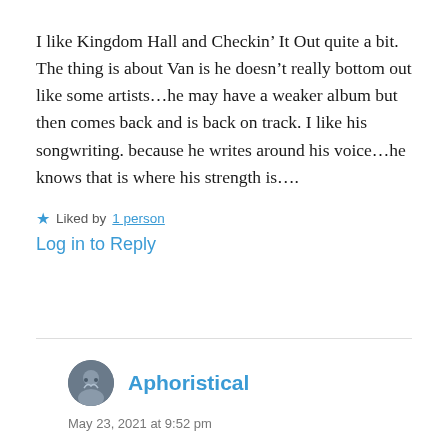I like Kingdom Hall and Checkin’ It Out quite a bit.
The thing is about Van is he doesn’t really bottom out like some artists…he may have a weaker album but then comes back and is back on track. I like his songwriting. because he writes around his voice…he knows that is where his strength is….
★ Liked by 1 person
Log in to Reply
Aphoristical
May 23, 2021 at 9:52 pm